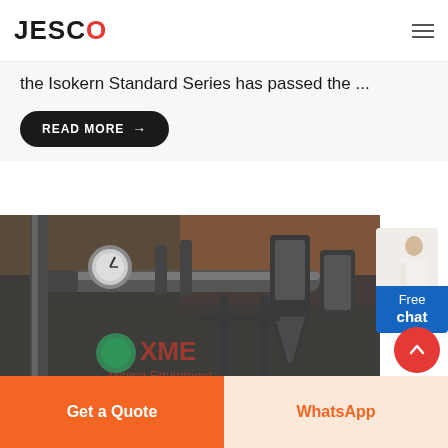JESCO
the Isokern Standard Series has passed the ...
READ MORE →
[Figure (photo): Industrial machinery with pipes, pressure gauge, cyclone separators and metal framework in a factory setting. Watermark reads XME Mining Equipment.]
Free chat
Get a Quote
WhatsApp